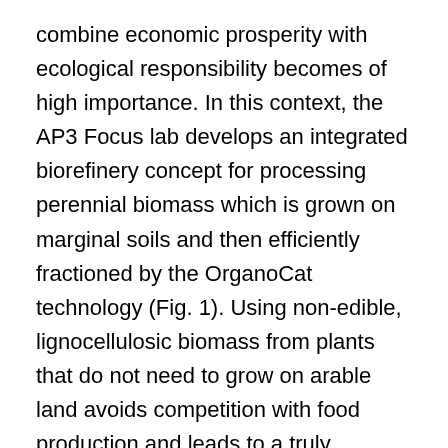combine economic prosperity with ecological responsibility becomes of high importance. In this context, the AP3 Focus lab develops an integrated biorefinery concept for processing perennial biomass which is grown on marginal soils and then efficiently fractioned by the OrganoCat technology (Fig. 1). Using non-edible, lignocellulosic biomass from plants that do not need to grow on arable land avoids competition with food production and leads to a truly sustainable solution.
The AP3 project interlinks worldwide leading expertise in plant science and chemical engineering alongside economics and innovation management. The TIM Chair group contributes to this interdisciplinary endeavor within the Work Package